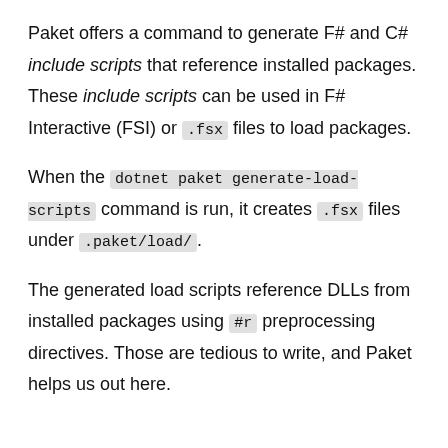Paket offers a command to generate F# and C# include scripts that reference installed packages. These include scripts can be used in F# Interactive (FSI) or .fsx files to load packages.
When the dotnet paket generate-load-scripts command is run, it creates .fsx files under .paket/load/.
The generated load scripts reference DLLs from installed packages using #r preprocessing directives. Those are tedious to write, and Paket helps us out here.